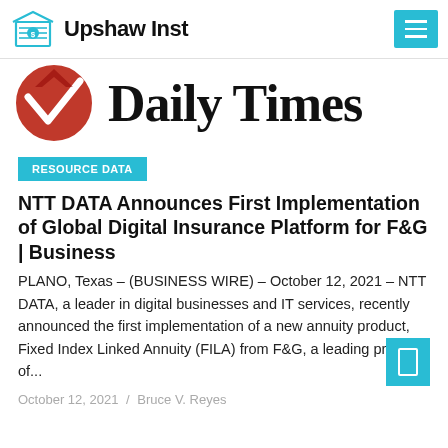Upshaw Inst
[Figure (logo): Daily Times newspaper logo with red circular emblem and bold serif masthead text]
RESOURCE DATA
NTT DATA Announces First Implementation of Global Digital Insurance Platform for F&G | Business
PLANO, Texas – (BUSINESS WIRE) – October 12, 2021 – NTT DATA, a leader in digital businesses and IT services, recently announced the first implementation of a new annuity product, Fixed Index Linked Annuity (FILA) from F&G, a leading provider of...
October 12, 2021   /   Bruce V. Reyes